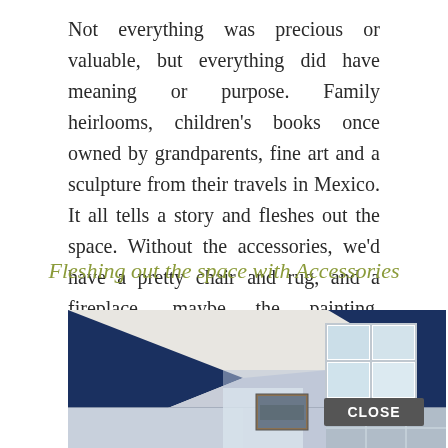Not everything was precious or valuable, but everything did have meaning or purpose. Family heirlooms, children's books once owned by grandparents, fine art and a sculpture from their travels in Mexico. It all tells a story and fleshes out the space. Without the accessories, we'd have a pretty chair and rug, and a fireplace, maybe the painting. Everything is lovely, but would certainly be a bit sterile.
Fleshing out the space with Accessories
[Figure (illustration): Illustration of a room interior with dark navy blue walls/ceiling and light gray/beige walls, featuring a window with blue trim and a framed painting visible. A 'CLOSE' button overlay appears in the lower right area.]